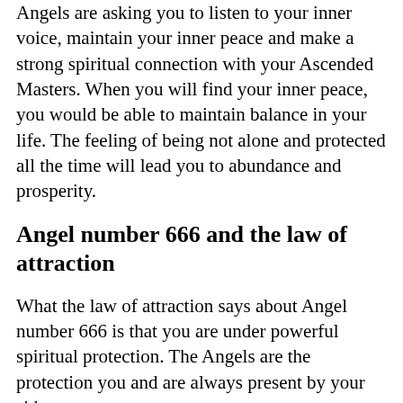Angels are asking you to listen to your inner voice, maintain your inner peace and make a strong spiritual connection with your Ascended Masters. When you will find your inner peace, you would be able to maintain balance in your life. The feeling of being not alone and protected all the time will lead you to abundance and prosperity.
Angel number 666 and the law of attraction
What the law of attraction says about Angel number 666 is that you are under powerful spiritual protection. The Angels are the protection you and are always present by your side.
The appearance of Angel number 666 is not a